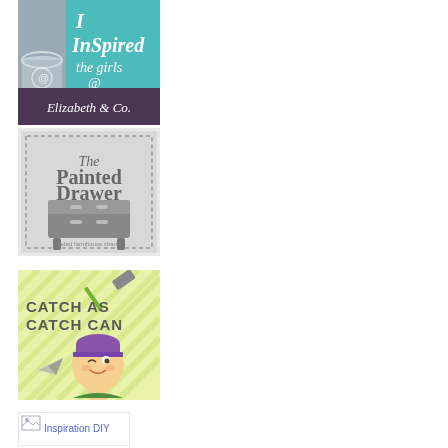[Figure (logo): Inspired the girls @ Elizabeth & Co. blog badge with paint can and teal background]
[Figure (logo): The Painted Drawer blog badge with grey dresser furniture illustration and dotted border]
[Figure (logo): Catch as Catch Can blog badge with cartoon girl character and hammer on light green background]
[Figure (logo): Inspiration DIY blog badge shown as broken image placeholder with alt text]